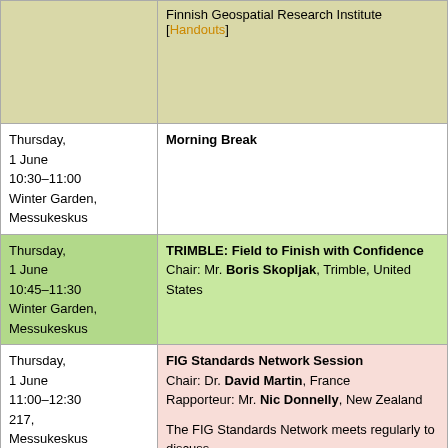| Time/Location | Session |
| --- | --- |
|  | Finnish Geospatial Research Institute [Handouts] |
| Thursday, 1 June 10:30–11:00 Winter Garden, Messukeskus | Morning Break |
| Thursday, 1 June 10:45–11:30 Winter Garden, Messukeskus | TRIMBLE: Field to Finish with Confidence
Chair: Mr. Boris Skopljak, Trimble, United States |
| Thursday, 1 June 11:00–12:30 217, Messukeskus | FIG Standards Network Session
Chair: Dr. David Martin, France
Rapporteur: Mr. Nic Donnelly, New Zealand
The FIG Standards Network meets regularly to discuss reference of the Network are:
• Building and maintaining relations with the secre...
• Proposing priorities on FIG's standardisation acti... spending.
• Setting up necessary Liaison relationships with s...
• Ensuring that lead contacts to Technical Committ... |